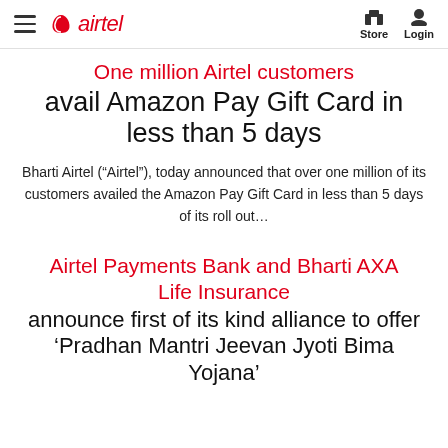airtel | Store | Login
One million Airtel customers avail Amazon Pay Gift Card in less than 5 days
Bharti Airtel (“Airtel”), today announced that over one million of its customers availed the Amazon Pay Gift Card in less than 5 days of its roll out…
Airtel Payments Bank and Bharti AXA Life Insurance announce first of its kind alliance to offer ‘Pradhan Mantri Jeevan Jyoti Bima Yojana’